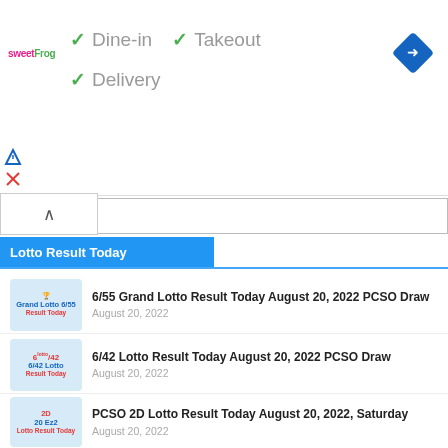[Figure (screenshot): Sweet Frog logo advertisement banner with Dine-in, Takeout, and Delivery checkmarks, and a blue navigation arrow icon]
✓ Dine-in ✓ Takeout
✓ Delivery
Lotto Result Today
6/55 Grand Lotto Result Today August 20, 2022 PCSO Draw
August 20, 2022
6/42 Lotto Result Today August 20, 2022 PCSO Draw
August 20, 2022
PCSO 2D Lotto Result Today August 20, 2022, Saturday
August 20, 2022